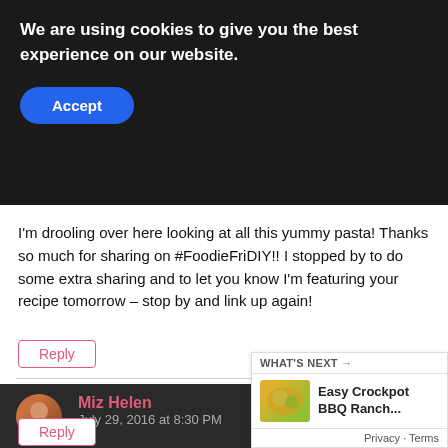We are using cookies to give you the best experience on our website.
Accept
I'm drooling over here looking at all this yummy pasta! Thanks so much for sharing on #FoodieFriDIY!! I stopped by to do some extra sharing and to let you know I'm featuring your recipe tomorrow – stop by and link up again!
Reply
Miz Helen
July 29, 2016 at 8:30 PM
We will really enjoy this awesome Pasta dish with these delicious flavors! Thanks so much for sharing with us at Full Plate Thursday and have a great weekend!
Miz Helen
[Figure (infographic): Like/heart button with teal circle and count of 1]
[Figure (infographic): Share icon with plus symbol]
WHAT'S NEXT → Easy Crockpot BBQ Ranch...
Privacy · Terms
Reply